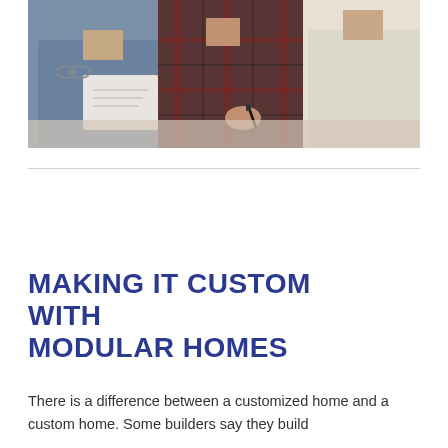[Figure (photo): Three people sitting at a table reviewing documents. One person in a blue denim shirt holds papers, a second person in a dark red plaid shirt holds a pen and writes, and a third person in a cream/white sweater is partially visible on the right.]
MAKING IT CUSTOM WITH MODULAR HOMES
There is a difference between a customized home and a custom home. Some builders say they build